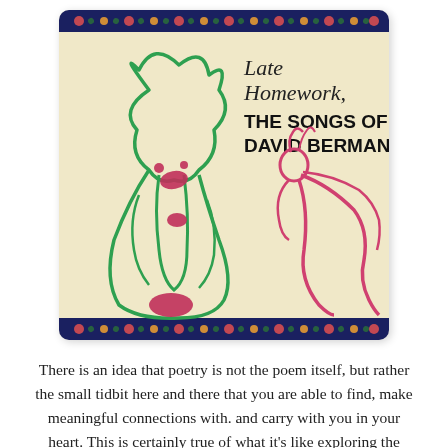[Figure (illustration): Album cover for 'Late Homework, The Songs of David Berman'. Cream/beige background with dark navy floral border strips at top and bottom. Green line-drawn figure of a person sitting, with red/pink oval accents. Pink/red line-drawn figure of a person standing to the right. Title text: 'Late Homework,' in cursive and 'THE SONGS OF DAVID BERMAN' in bold block letters.]
There is an idea that poetry is not the poem itself, but rather the small tidbit here and there that you are able to find, make meaningful connections with. and carry with you in your heart. This is certainly true of what it's like exploring the absurd yet strangely dignified world of David Berman. In every piece of his writing at any point you might stumble upon the most stunning view of the miraculous beauty of